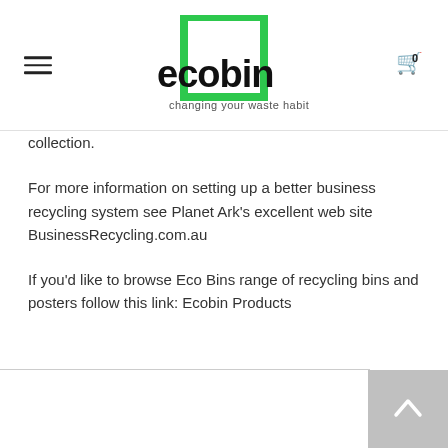[Figure (logo): Ecobin logo with green square outline and text 'ecobin — changing your waste habits']
collection.
For more information on setting up a better business recycling system see Planet Ark's excellent web site BusinessRecycling.com.au
If you'd like to browse Eco Bins range of recycling bins and posters follow this link: Ecobin Products